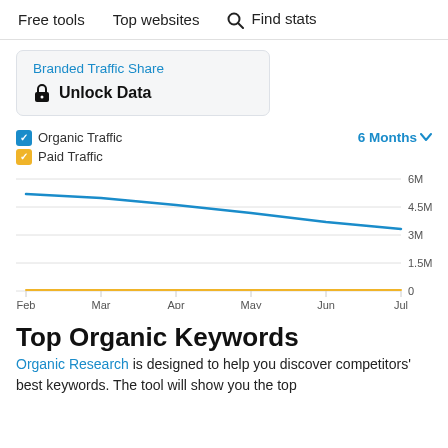Free tools   Top websites   🔍 Find stats
Branded Traffic Share
🔒 Unlock Data
☑ Organic Traffic   ☑ Paid Traffic   6 Months ▾
[Figure (line-chart): Organic Traffic and Paid Traffic (6 Months)]
Top Organic Keywords
Organic Research is designed to help you discover competitors' best keywords. The tool will show you the top